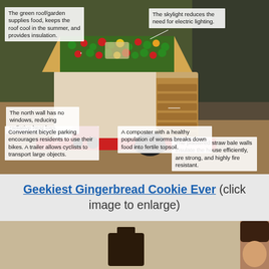[Figure (photo): Photo of a gingerbread house model annotated with sustainable building features: green roof/garden, skylight, no north windows, straw bale walls, bicycle parking, and composter]
Geekiest Gingerbread Cookie Ever (click image to enlarge)
[Figure (photo): Bottom portion of a second photo showing a person and a gingerbread cookie item]